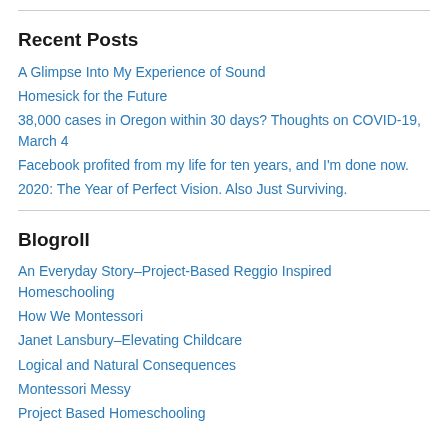Recent Posts
A Glimpse Into My Experience of Sound
Homesick for the Future
38,000 cases in Oregon within 30 days? Thoughts on COVID-19, March 4
Facebook profited from my life for ten years, and I'm done now.
2020: The Year of Perfect Vision. Also Just Surviving.
Blogroll
An Everyday Story–Project-Based Reggio Inspired Homeschooling
How We Montessori
Janet Lansbury–Elevating Childcare
Logical and Natural Consequences
Montessori Messy
Project Based Homeschooling